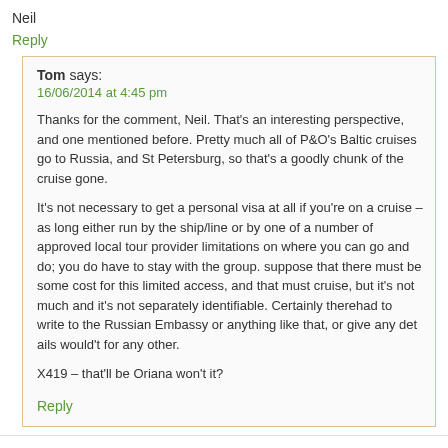Neil
Reply
Tom says:
16/06/2014 at 4:45 pm
Thanks for the comment, Neil. That's an interesting perspective, and one mentioned before. Pretty much all of P&O's Baltic cruises go to Russia, and St Petersburg, so that's a goodly chunk of the cruise gone.
It's not necessary to get a personal visa at all if you're on a cruise – as long as either run by the ship/line or by one of a number of approved local tour providers. limitations on where you can go and do; you do have to stay with the group. I suppose that there must be some cost for this limited access, and that must be in cruise, but it's not much and it's not separately identifiable. Certainly there had to write to the Russian Embassy or anything like that, or give any details wouldn't for any other.
X419 – that'll be Oriana won't it?
Reply